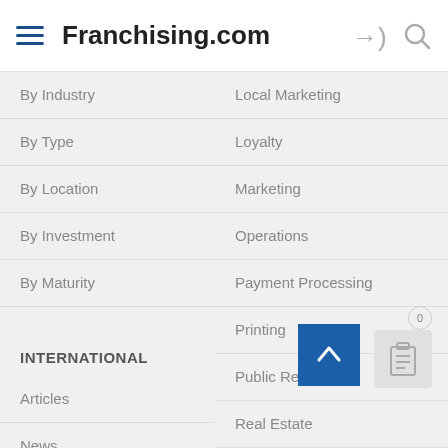Franchising.com
By Industry
Local Marketing
By Type
Loyalty
By Location
Marketing
By Investment
Operations
By Maturity
Payment Processing
Printing
Public Relations
INTERNATIONAL
Real Estate
Articles
Social Media
News
Technology
Opportunities
Telecommunications
Region Guides
PRODUCTS & C
Annual Franchis... Report